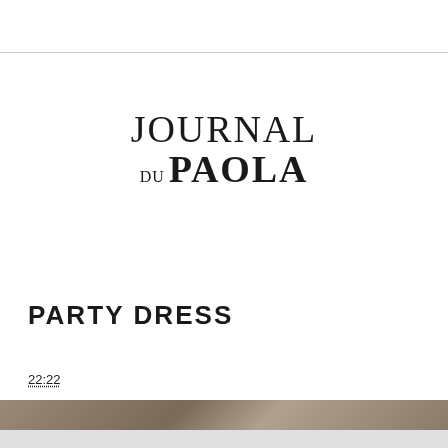[Figure (logo): Journal du Paola logo — serif typeface, two lines: 'JOURNAL' on top and 'DU PAOLA' below with 'DU' in smaller text]
PARTY DRESS
22:22
[Figure (photo): Partial photo strip at the bottom of the page, showing a dark/muted fashion image]